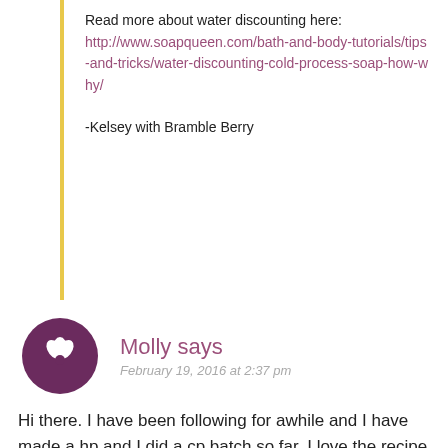Read more about water discounting here: http://www.soapqueen.com/bath-and-body-tutorials/tips-and-tricks/water-discounting-cold-process-soap-how-why/
-Kelsey with Bramble Berry
Molly says
February 19, 2016 at 2:37 pm
Hi there. I have been following for awhile and I have made a hp and I did a cp batch so far. I love the recipe you have for your old faithful the 32/32/32/4of the olive coconut Palm, castor. But I have a crazy